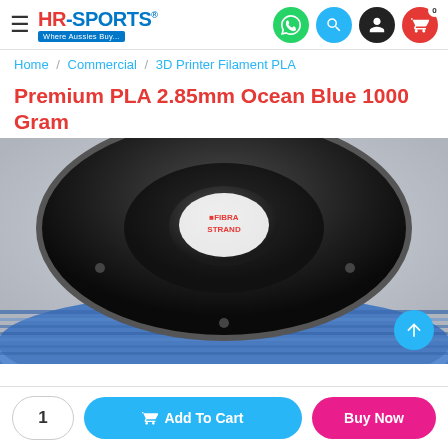HR-SPORTS Where Aussies Buy...
Home / Commercial / 3D Printer Filament PLA
Premium PLA 2.85mm Ocean Blue 1000 Gram
[Figure (photo): 3D printer filament spool with black plastic reel top and ocean blue filament visible on the sides, brand label in center of reel]
1  Add To Cart  Buy Now